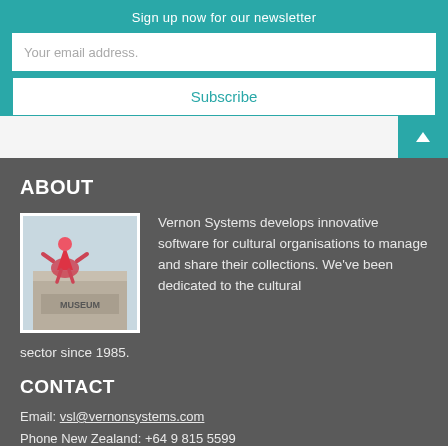Sign up now for our newsletter
Your email address.
Subscribe
ABOUT
[Figure (photo): Photo of a museum building with a decorative pink/red figure on top, building sign reads MUSEUM]
Vernon Systems develops innovative software for cultural organisations to manage and share their collections. We've been dedicated to the cultural sector since 1985.
CONTACT
Email: vsl@vernonsystems.com
Phone New Zealand: +64 9 815 5599